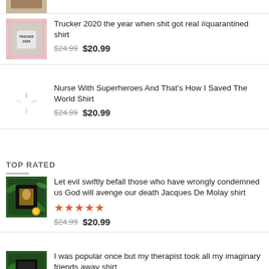[Figure (photo): Partial product thumbnail at top, cropped]
Trucker 2020 the year when shit got real #quarantined shirt  $24.99  $20.99
Nurse With Superheroes And That's How I Saved The World Shirt  $24.99  $20.99
TOP RATED
Let evil swiftly befall those who have wrongly condemned us God will avenge our death Jacques De Molay shirt  ★★★★★  $24.99  $20.99
I was popular once but my therapist took all my imaginary friends away shirt